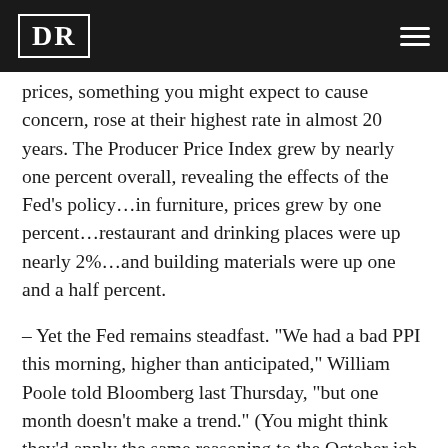DR
prices, something you might expect to cause concern, rose at their highest rate in almost 20 years. The Producer Price Index grew by nearly one percent overall, revealing the effects of the Fed’s policy…in furniture, prices grew by one percent…restaurant and drinking places were up nearly 2%…and building materials were up one and a half percent.
– Yet the Fed remains steadfast. "We had a bad PPI this morning, higher than anticipated," William Poole told Bloomberg last Thursday, "but one month doesn’t make a trend." (You might think they’d apply the same reasoning to the October job report, eh? Oh, well…)